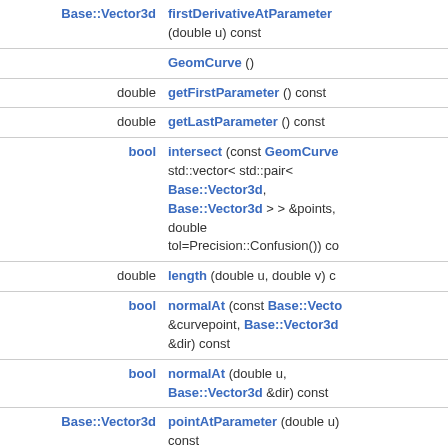| Return Type | Method Signature |
| --- | --- |
| Base::Vector3d | firstDerivativeAtParameter (double u) const |
|  | GeomCurve () |
| double | getFirstParameter () const |
| double | getLastParameter () const |
| bool | intersect (const GeomCurve std::vector< std::pair< Base::Vector3d, Base::Vector3d > > &points, double tol=Precision::Confusion()) co |
| double | length (double u, double v) c |
| bool | normalAt (const Base::Vecto &curvepoint, Base::Vector3d &dir) const |
| bool | normalAt (double u, Base::Vector3d &dir) const |
| Base::Vector3d | pointAtParameter (double u) const |